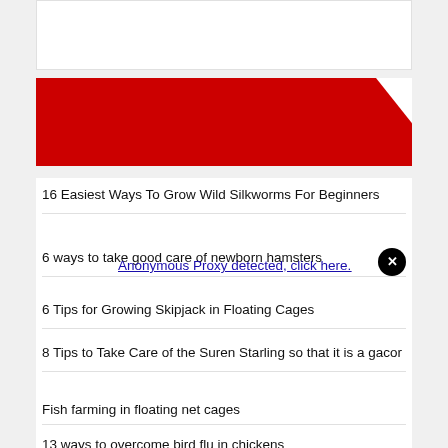[Figure (other): Red banner/header graphic with diagonal shape]
16 Easiest Ways To Grow Wild Silkworms For Beginners
Anonymous Proxy detected, click here. 6 ways to take good care of newborn hamsters
6 Tips for Growing Skipjack in Floating Cages
8 Tips to Take Care of the Suren Starling so that it is a gacor
Fish farming in floating net cages
13 ways to overcome bird flu in chickens